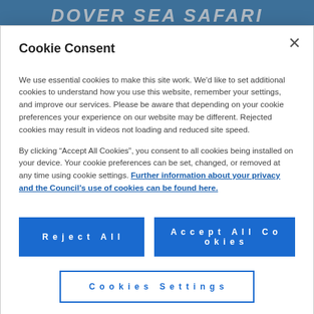[Figure (screenshot): Background page showing Dover Sea Safari website header in blue with white bold italic text]
Cookie Consent
We use essential cookies to make this site work. We'd like to set additional cookies to understand how you use this website, remember your settings, and improve our services. Please be aware that depending on your cookie preferences your experience on our website may be different. Rejected cookies may result in videos not loading and reduced site speed.
By clicking “Accept All Cookies”, you consent to all cookies being installed on your device. Your cookie preferences can be set, changed, or removed at any time using cookie settings. Further information about your privacy and the Council’s use of cookies can be found here.
Reject All | Accept All Cookies | Cookies Settings